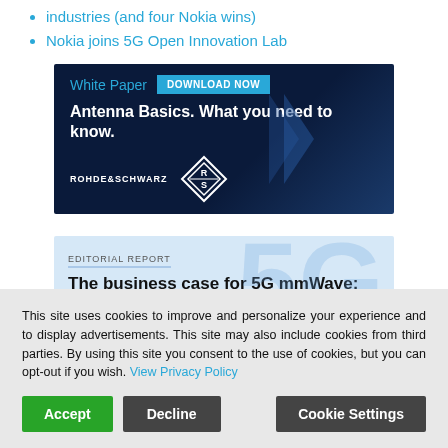industries (and four Nokia wins)
Nokia joins 5G Open Innovation Lab
[Figure (infographic): Rohde & Schwarz white paper advertisement banner with dark navy blue background. Text: 'White Paper', 'DOWNLOAD NOW' button in cyan, 'Antenna Basics. What you need to know.', ROHDE&SCHWARZ logo and RS diamond logo.]
[Figure (infographic): Editorial Report banner with light blue background. Large '5G' watermark in background. Text: 'EDITORIAL REPORT', 'The business case for 5G mmWave:']
This site uses cookies to improve and personalize your experience and to display advertisements. This site may also include cookies from third parties. By using this site you consent to the use of cookies, but you can opt-out if you wish. View Privacy Policy